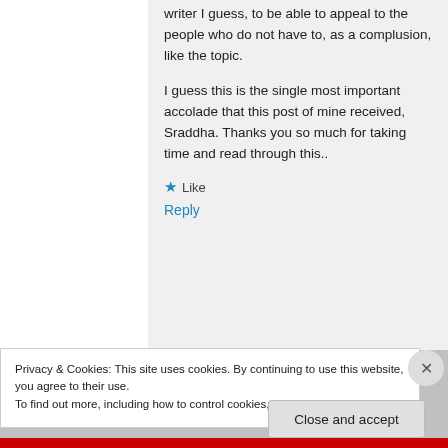writer I guess, to be able to appeal to the people who do not have to, as a complusion, like the topic.
I guess this is the single most important accolade that this post of mine received, Sraddha. Thanks you so much for taking time and read through this..
★ Like
Reply
Privacy & Cookies: This site uses cookies. By continuing to use this website, you agree to their use.
To find out more, including how to control cookies, see here: Cookie Policy
Close and accept